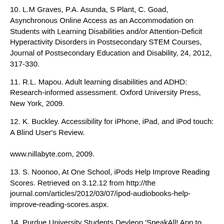10. L.M Graves, P.A. Asunda, S Plant, C. Goad, Asynchronous Online Access as an Accommodation on Students with Learning Disabilities and/or Attention-Deficit Hyperactivity Disorders in Postsecondary STEM Courses, Journal of Postsecondary Education and Disability, 24, 2012, 317-330.
11. R.L. Mapou. Adult learning disabilities and ADHD: Research-informed assessment. Oxford University Press, New York, 2009.
12. K. Buckley. Accessibility for iPhone, iPad, and iPod touch: A Blind User's Review.

www.nillabyte.com, 2009.
13. S. Noonoo, At One School, iPods Help Improve Reading Scores. Retrieved on 3.12.12 from http://thejournal.com/articles/2012/03/07/ipod-audiobooks-help-improve-reading-scores.aspx.
14. Purdue University Students Devleop 'SpeakAll! App to Help Children with Severe Autism. Global Accessibility News, 2012. Retrieved on 4.8.12 from http://global accessibility